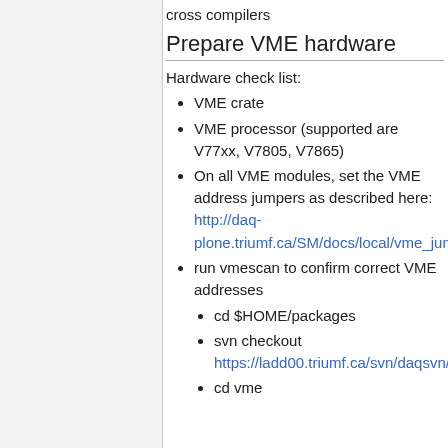cross compilers
Prepare VME hardware
Hardware check list:
VME crate
VME processor (supported are V77xx, V7805, V7865)
On all VME modules, set the VME address jumpers as described here: http://daq-plone.triumf.ca/SM/docs/local/vme_jumpers
run vmescan to confirm correct VME addresses
cd $HOME/packages
svn checkout https://ladd00.triumf.ca/svn/daqsvn/trunk/vme
cd vme